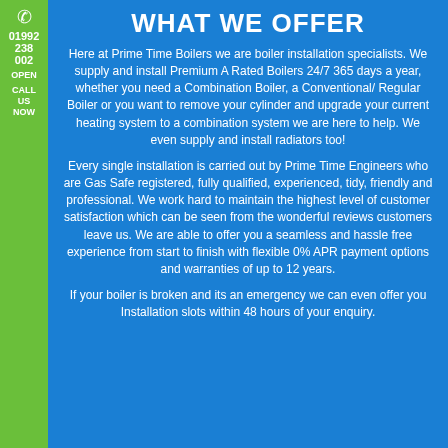WHAT WE OFFER
Here at Prime Time Boilers we are boiler installation specialists. We supply and install Premium A Rated Boilers 24/7 365 days a year, whether you need a Combination Boiler, a Conventional/ Regular Boiler or you want to remove your cylinder and upgrade your current heating system to a combination system we are here to help. We even supply and install radiators too!
Every single installation is carried out by Prime Time Engineers who are Gas Safe registered, fully qualified, experienced, tidy, friendly and professional. We work hard to maintain the highest level of customer satisfaction which can be seen from the wonderful reviews customers leave us. We are able to offer you a seamless and hassle free experience from start to finish with flexible 0% APR payment options and warranties of up to 12 years.
If your boiler is broken and its an emergency we can even offer you Installation slots within 48 hours of your enquiry.